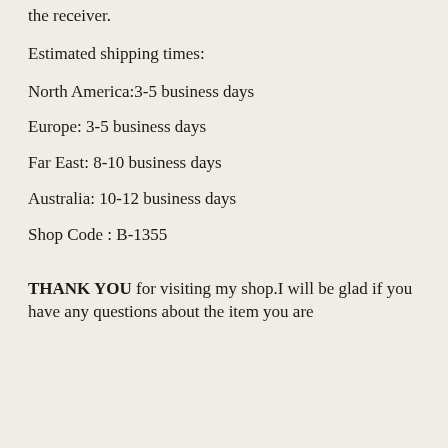the receiver.
Estimated shipping times:
North America:3-5 business days
Europe: 3-5 business days
Far East: 8-10 business days
Australia: 10-12 business days
Shop Code : B-1355
THANK YOU for visiting my shop.I will be glad if you have any questions about the item you are